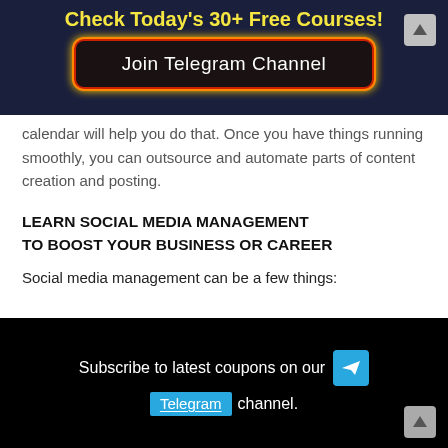Check Today's 30+ Free Courses!
[Figure (screenshot): Dark navy banner with yellow bold text 'Check Today's 30+ Free Courses!' and a black button 'Join Telegram Channel' with red/orange/yellow glowing border, plus a grey arrow button top-right]
calendar will help you do that. Once you have things running smoothly, you can outsource and automate parts of content creation and posting.
LEARN SOCIAL MEDIA MANAGEMENT TO BOOST YOUR BUSINESS OR CAREER
Social media management can be a few things:
[Figure (screenshot): Black banner with white text 'Subscribe to latest coupons on our' with a cyan Telegram icon, and a second line showing cyan highlighted 'Telegram' link and 'channel.' text]